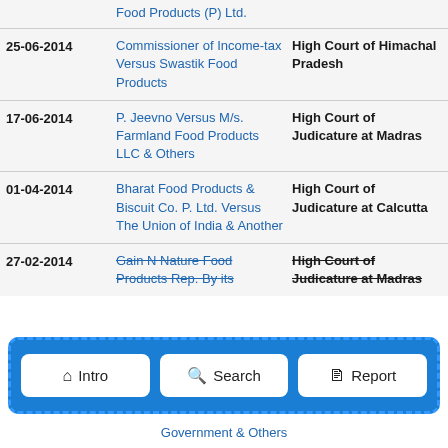| Date | Case | Court |
| --- | --- | --- |
|  | Food Products (P) Ltd. |  |
| 25-06-2014 | Commissioner of Income-tax Versus Swastik Food Products | High Court of Himachal Pradesh |
| 17-06-2014 | P. Jeevno Versus M/s. Farmland Food Products LLC & Others | High Court of Judicature at Madras |
| 01-04-2014 | Bharat Food Products & Biscuit Co. P. Ltd. Versus The Union of India & Another | High Court of Judicature at Calcutta |
| 27-02-2014 | Gain N Nature Food Products Rep. By its... | High Court of Judicature at Madras |
[Figure (screenshot): Navigation bar with three buttons: Intro, Search, Report]
Government & Others